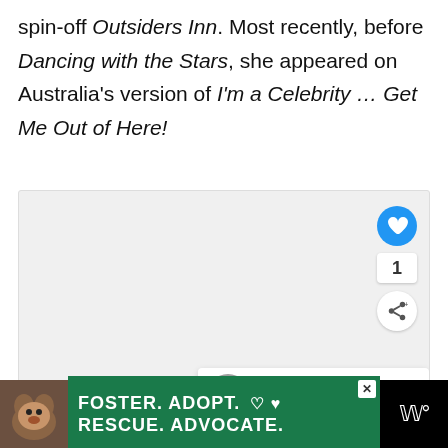spin-off Outsiders Inn. Most recently, before Dancing with the Stars, she appeared on Australia's version of I'm a Celebrity … Get Me Out of Here!
[Figure (screenshot): Screenshot area showing UI elements: heart/like button (blue circle), count of 1, share button, 'What's Next' panel with 'uddy' avatar and text "'Dancing with the Stars'...", and three navigation dots at bottom]
[Figure (other): Advertisement banner at bottom: dog photo, green background with text 'FOSTER. ADOPT. RESCUE. ADVOCATE.' with heart icons, close button, and right-side logo 'W']